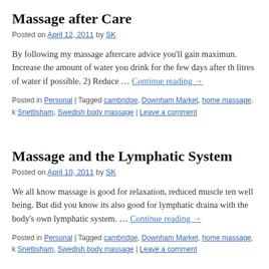Massage after Care
Posted on April 12, 2011 by SK
By following my massage aftercare advice you'll gain maximum. Increase the amount of water you drink for the few days after the litres of water if possible. 2) Reduce … Continue reading →
Posted in Personal | Tagged cambridge, Downham Market, home massage, Snettisham, Swedish body massage | Leave a comment
Massage and the Lymphatic System
Posted on April 10, 2011 by SK
We all know massage is good for relaxation, reduced muscle tension well being. But did you know its also good for lymphatic drainage with the body's own lymphatic system. … Continue reading →
Posted in Personal | Tagged cambridge, Downham Market, home massage, Snettisham, Swedish body massage | Leave a comment